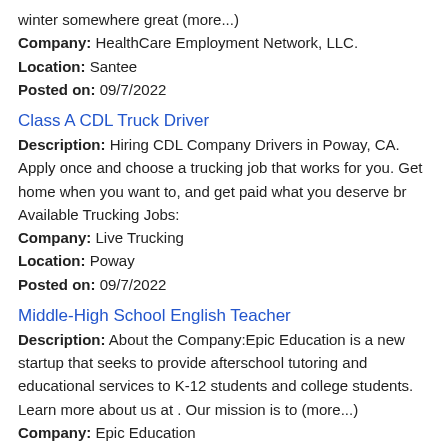winter somewhere great (more...)
Company: HealthCare Employment Network, LLC.
Location: Santee
Posted on: 09/7/2022
Class A CDL Truck Driver
Description: Hiring CDL Company Drivers in Poway, CA. Apply once and choose a trucking job that works for you. Get home when you want to, and get paid what you deserve br Available Trucking Jobs:
Company: Live Trucking
Location: Poway
Posted on: 09/7/2022
Middle-High School English Teacher
Description: About the Company:Epic Education is a new startup that seeks to provide afterschool tutoring and educational services to K-12 students and college students. Learn more about us at . Our mission is to (more...)
Company: Epic Education
Location: Rowland Heights
Posted on: 09/7/2022
Truck Driver Class A (Amazon Tractor) Home Daily